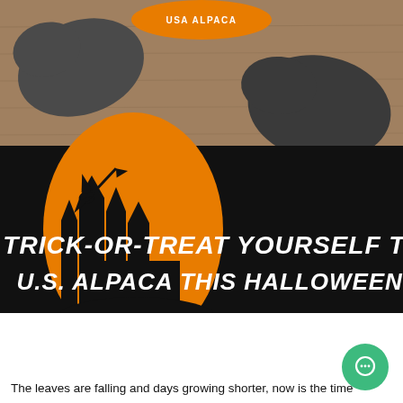[Figure (photo): Top half: photo of alpaca wool felted slipper-shaped items in dark gray on a wooden surface, with an orange USA ALPACA branded pad at top center. Bottom half: black background with orange oval moon shape featuring silhouette of a witch flying on broomstick and castle spires. White spooky text reads 'TRICK-OR-TREAT YOURSELF TO U.S. ALPACA THIS HALLOWEEN!']
The leaves are falling and days growing shorter, now is the time